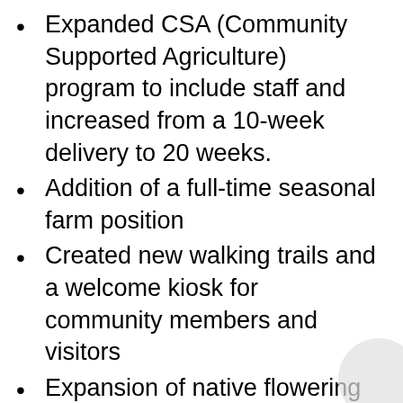Expanded CSA (Community Supported Agriculture) program to include staff and increased from a 10-week delivery to 20 weeks.
Addition of a full-time seasonal farm position
Created new walking trails and a welcome kiosk for community members and visitors
Expansion of native flowering and beneficial perennial plantings
Hosted the first Farm at Willow Run open house for neighbors and community members with a local food truck, band and guided tours
Addition of cauliflower, eggplant, ginger, okra, snap peas and oyster mushrooms to